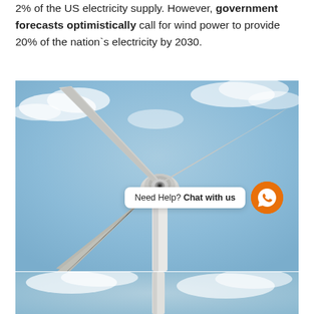2% of the US electricity supply. However, government forecasts optimistically call for wind power to provide 20% of the nation's electricity by 2030.
[Figure (photo): Close-up upward-looking photo of a wind turbine hub and three blades against a partly cloudy blue sky]
[Figure (photo): Partial view of another wind turbine against a cloudy sky, cropped at the bottom of the page]